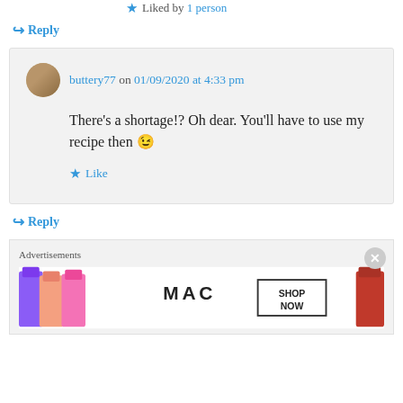★ Liked by 1 person
↪ Reply
buttery77 on 01/09/2020 at 4:33 pm
There's a shortage!? Oh dear. You'll have to use my recipe then 😉
★ Like
↪ Reply
Advertisements
[Figure (photo): MAC cosmetics advertisement showing colorful lipsticks with SHOP NOW button]